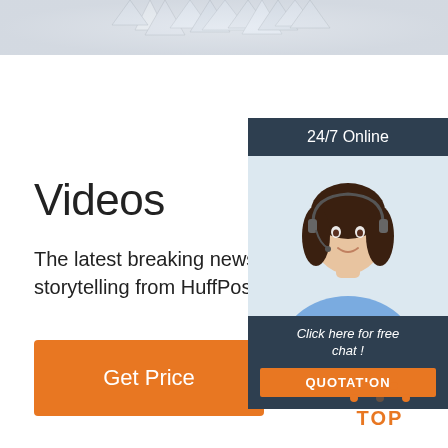[Figure (photo): Decorative jewellery/crystal image at top of page, partially visible]
Videos
The latest breaking news video and visual storytelling from HuffPost.
[Figure (illustration): Get Price orange button]
[Figure (infographic): 24/7 Online chat widget with customer service agent photo, Click here for free chat!, QUOTATION button]
[Figure (logo): TOP icon with orange dots forming triangle and TOP text in orange]